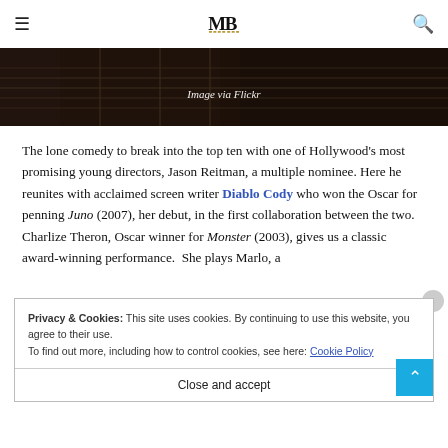MB (logo)
[Figure (photo): Dark photo of a guitar neck/strings, with caption 'Image via Flickr' overlaid in italic white text]
Image via Flickr
The lone comedy to break into the top ten with one of Hollywood's most promising young directors, Jason Reitman, a multiple nominee. Here he reunites with acclaimed screen writer Diablo Cody who won the Oscar for penning Juno (2007), her debut, in the first collaboration between the two. Charlize Theron, Oscar winner for Monster (2003), gives us a classic award-winning performance.  She plays Marlo, a
Privacy & Cookies: This site uses cookies. By continuing to use this website, you agree to their use.
To find out more, including how to control cookies, see here: Cookie Policy
Close and accept